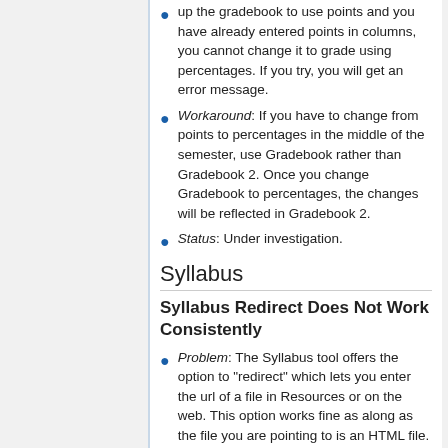Problem: In Gradebook 2, if you have set up the gradebook to use points and you have already entered points in columns, you cannot change it to grade using percentages. If you try, you will get an error message.
Workaround: If you have to change from points to percentages in the middle of the semester, use Gradebook rather than Gradebook 2. Once you change Gradebook to percentages, the changes will be reflected in Gradebook 2.
Status: Under investigation.
Syllabus
Syllabus Redirect Does Not Work Consistently
Problem: The Syllabus tool offers the option to "redirect" which lets you enter the url of a file in Resources or on the web. This option works fine as along as the file you are pointing to is an HTML file. But pointing to a PDF or MSWord file